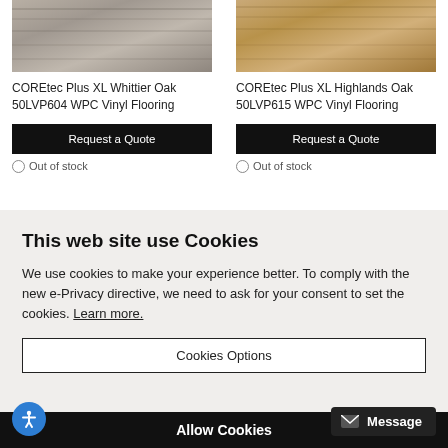[Figure (photo): Wood flooring sample image - gray/taupe tone for COREtec Plus XL Whittier Oak]
COREtec Plus XL Whittier Oak 50LVP604 WPC Vinyl Flooring
Request a Quote
Out of stock
[Figure (photo): Wood flooring sample image - warm tan/honey tone for COREtec Plus XL Highlands Oak]
COREtec Plus XL Highlands Oak 50LVP615 WPC Vinyl Flooring
Request a Quote
Out of stock
This web site use Cookies
We use cookies to make your experience better. To comply with the new e-Privacy directive, we need to ask for your consent to set the cookies. Learn more.
Cookies Options
Allow Cookies